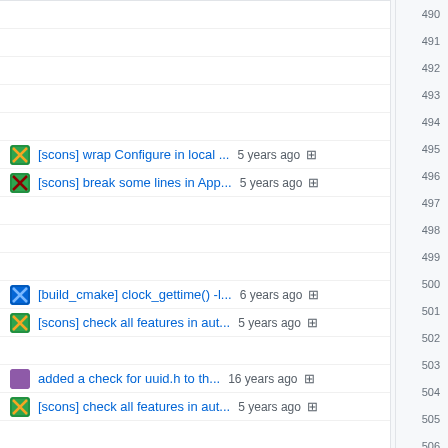490
491
492
493
494
[scons] wrap Configure in local ... 5 years ago 495
[scons] break some lines in App... 5 years ago 496
497
498
499
[build_cmake] clock_gettime() -l... 6 years ago 500
[scons] check all features in aut... 5 years ago 501
502
added a check for uuid.h to th... 16 years ago 503
[scons] check all features in aut... 5 years ago 504
505
added a alternative to automa... 17 years ago 506
[scons] check all features in aut... 5 years ago 507
508
509
[scons] wrap Configure in local ... 5 years ago 510